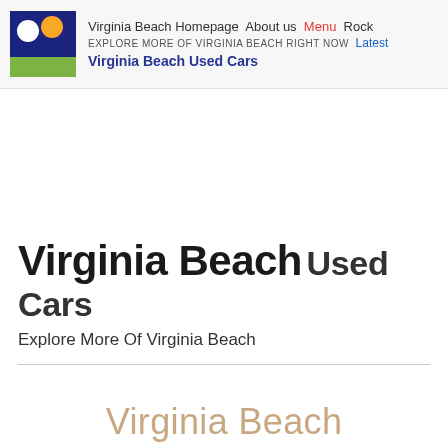Virginia Beach Homepage  About us  Menu  Rock
EXPLORE MORE OF VIRGINIA BEACH RIGHT NOW  Latest
Virginia Beach Used Cars
Virginia Beach Used Cars
Explore More Of Virginia Beach
Virginia Beach